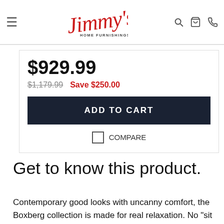[Figure (logo): Jimmy's Home Furnishings logo in red cursive script]
$929.99
$1,179.99   Save $250.00
ADD TO CART
COMPARE
Get to know this product.
Contemporary good looks with uncanny comfort, the Boxberg collection is made for real relaxation. No "sit up